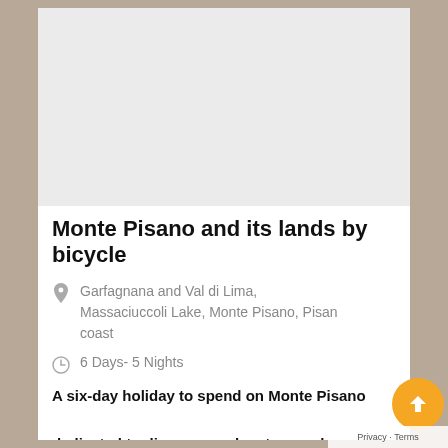[Figure (photo): Light gray placeholder image area at the top of the card]
Monte Pisano and its lands by bicycle
Garfagnana and Val di Lima, Massaciuccoli Lake, Monte Pisano, Pisan coast
6 Days- 5 Nights
A six-day holiday to spend on Monte Pisano dedicated to discovery, adventure and relaxation